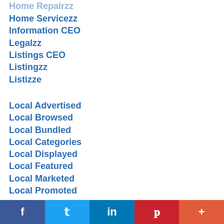Home Servicezz
Information CEO
Legalzz
Listings CEO
Listingzz
Listizze
Local Advertised
Local Browsed
Local Bundled
Local Categories
Local Displayed
Local Featured
Local Marketed
Local Promoted